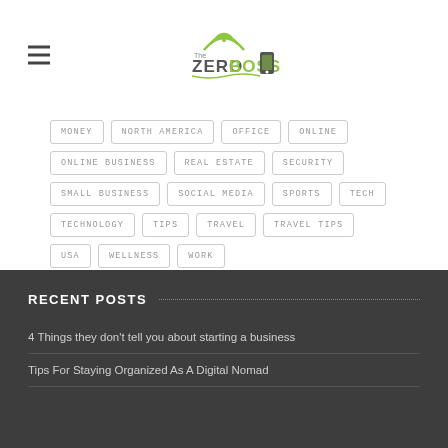[Figure (logo): ZeroBoss logo with WiFi icon and smartphone graphic]
MONEY
NORTH AMERICA
OFFICE
ONLINE
ONLINE BUSINESS
REAL ESTATE
SECURITY
SMALL BUSINESS
SOCIAL MEDIA
SPORTS
TECH
TECHNOLOGY
TIPS
TRAVEL
TRAVEL TIPS
USA
WELLNESS
WORK
RECENT POSTS
4 Things they don't tell you about starting a business
Tips For Staying Organized As A Digital Nomad